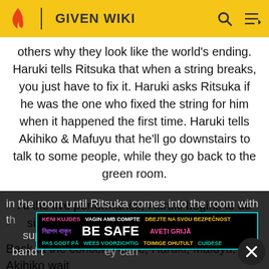GIVEN WIKI
others why they look like the world's ending. Haruki tells Ritsuka that when a string breaks, you just have to fix it. Haruki asks Ritsuka if he was the one who fixed the string for him when it happened the first time. Haruki tells Akihiko & Mafuyu that he'll go downstairs to talk to some people, while they go back to the green room.
At the live performance, Haruki begins to do sign languages to get Yatake's attention.
Back at the concert venue, Haruki, Mafuyu, & Akihiko wait in the room until Ritsuka comes into the room with the suppli... asked a band th... ey can
[Figure (other): BE SAFE multilingual safety banner overlay with cyan border, containing text in various languages: KENI KUJDES (pink), VAGIN AMB COMPTE (white), DBEJTE NA SVOU BEZPECNOST (yellow), নিরাপদ থাকুন (purple/blue), BE SAFE (white large), AVETI GRIJA (pink), PAS GODT PA (teal), WEES VOORZICHTIG (teal), TOIMIGE OHUTULT (yellow), CUIDESE (teal)]